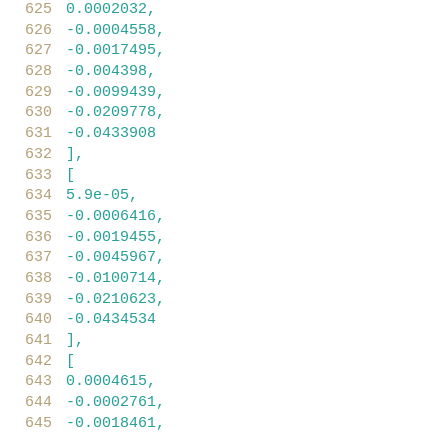625    0.0002032,
626    -0.0004558,
627    -0.0017495,
628    -0.004398,
629    -0.0099439,
630    -0.0209778,
631    -0.0433908
632  ],
633  [
634    5.9e-05,
635    -0.0006416,
636    -0.0019455,
637    -0.0045967,
638    -0.0100714,
639    -0.0210623,
640    -0.0434534
641  ],
642  [
643    0.0004615,
644    -0.0002761,
645    -0.0018461,